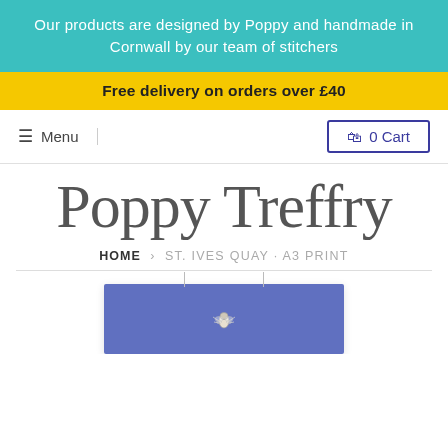Our products are designed by Poppy and handmade in Cornwall by our team of stitchers
Free delivery on orders over £40
≡ Menu
🛍 0 Cart
Poppy Treffry
HOME › ST. IVES QUAY · A3 PRINT
[Figure (photo): Partial view of a blue fabric product (St. Ives Quay A3 Print) with a small embroidered bee motif visible at the bottom of the page]